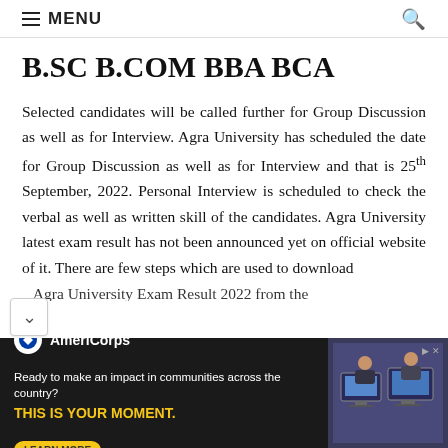MENU
B.SC B.COM BBA BCA
Selected candidates will be called further for Group Discussion as well as for Interview. Agra University has scheduled the date for Group Discussion as well as for Interview and that is 25th September, 2022. Personal Interview is scheduled to check the verbal as well as written skill of the candidates. Agra University latest exam result has not been announced yet on official website of it. There are few steps which are used to download Agra University Exam Result 2022 from the
[Figure (other): AmeriCorps advertisement banner. Text reads: 'Ready to make an impact in communities across the country? THIS IS YOUR MOMENT.' with a LEARN MORE button and an image of people at computers.]